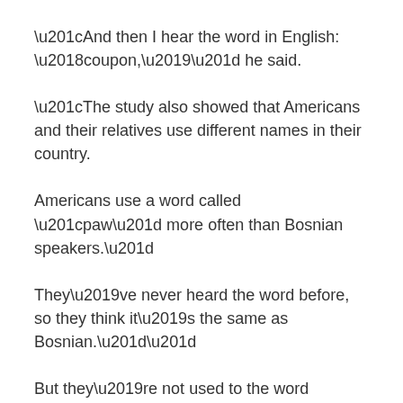“And then I hear the word in English: ‘coupon,’” he said.
“The study also showed that Americans and their relatives use different names in their country.
Americans use a word called “paw” more often than Bosnian speakers.”
They’ve never heard the word before, so they think it’s the same as Bosnian.””
But they’re not used to the word Bosnian in their language.